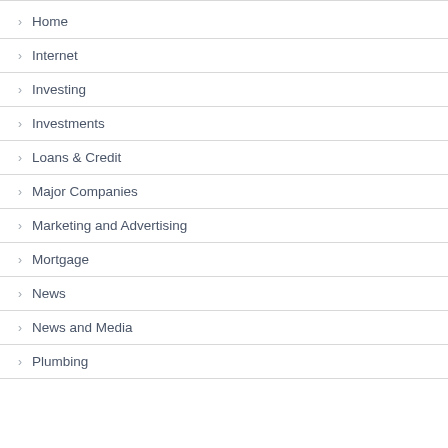Home
Internet
Investing
Investments
Loans & Credit
Major Companies
Marketing and Advertising
Mortgage
News
News and Media
Plumbing